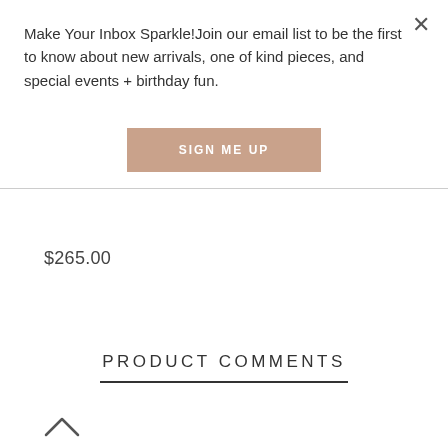Make Your Inbox Sparkle!Join our email list to be the first to know about new arrivals, one of kind pieces, and special events + birthday fun.
[Figure (other): SIGN ME UP button with tan/rosewood background color]
$265.00
PRODUCT COMMENTS
[Figure (other): Upward chevron arrow icon at bottom of page]